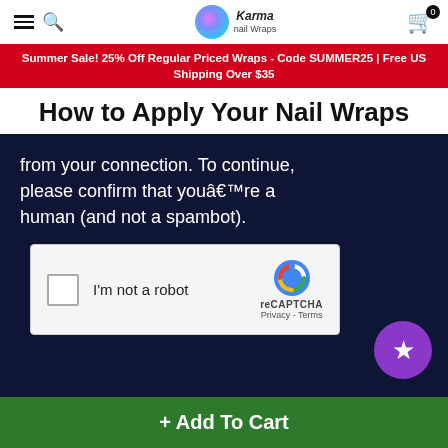Karma Nail Wraps — navigation header with hamburger, search, logo, and cart
Summer Sale! 25% Off Regular Priced Wraps - Code SUMMER25 | Free US Shipping Over $35
How to Apply Your Nail Wraps
from your connection. To continue, please confirm that youâ€™re a human (and not a spambot).
[Figure (screenshot): reCAPTCHA widget with checkbox 'I'm not a robot' and reCAPTCHA logo with Privacy and Terms links]
+ Add To Cart